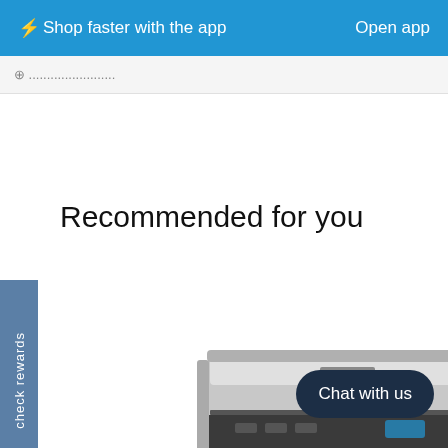⚡Shop faster with the app   Open app
check rewards
Recommended for you
[Figure (photo): Large format Epson wide-format printer on a stand with wheels, shown from a front-side angle. The printer is silver and dark grey in color.]
Chat with us